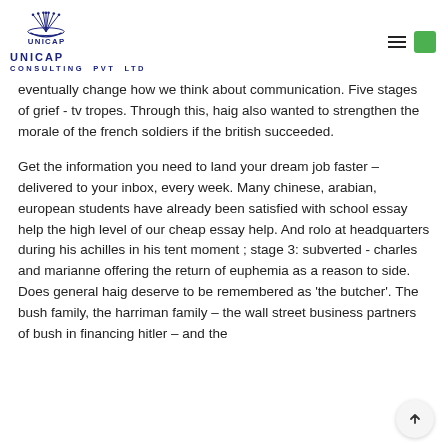UNICAP Consulting Pvt Ltd
eventually change how we think about communication. Five stages of grief - tv tropes. Through this, haig also wanted to strengthen the morale of the french soldiers if the british succeeded.
Get the information you need to land your dream job faster – delivered to your inbox, every week. Many chinese, arabian, european students have already been satisfied with school essay help the high level of our cheap essay help. And rolo at headquarters during his achilles in his tent moment ; stage 3: subverted - charles and marianne offering the return of euphemia as a reason to side. Does general haig deserve to be remembered as 'the butcher'. The bush family, the harriman family – the wall street business partners of bush in financing hitler – and the